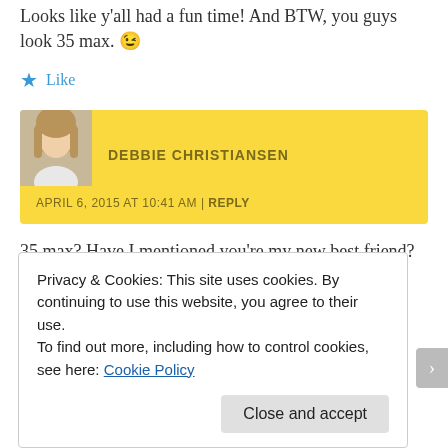Looks like y'all had a fun time! And BTW, you guys look 35 max. 😉
★ Like
DEBBIE CHRISTIANSEN
APRIL 6, 2015 AT 10:41 AM | REPLY
35 max? Have I mentioned you're my new best friend? ha! 🙂
Privacy & Cookies: This site uses cookies. By continuing to use this website, you agree to their use.
To find out more, including how to control cookies, see here: Cookie Policy
Close and accept